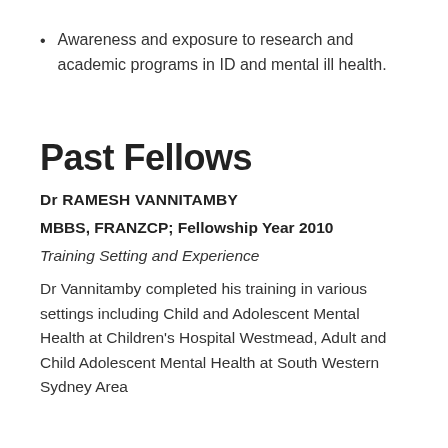Awareness and exposure to research and academic programs in ID and mental ill health.
Past Fellows
Dr RAMESH VANNITAMBY
MBBS, FRANZCP; Fellowship Year 2010
Training Setting and Experience
Dr Vannitamby completed his training in various settings including Child and Adolescent Mental Health at Children's Hospital Westmead, Adult and Child Adolescent Mental Health at South Western Sydney Area